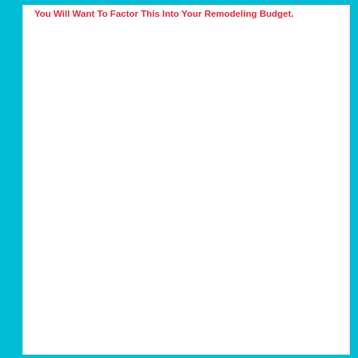You Will Want To Factor This Into Your Remodeling Budget.